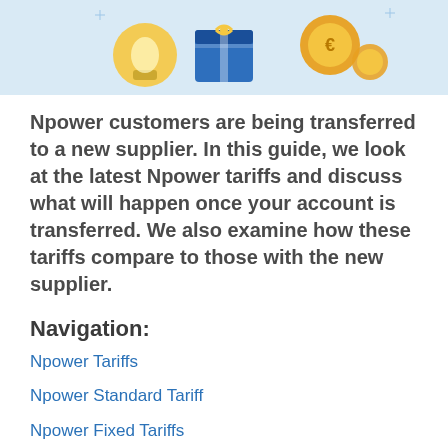[Figure (illustration): Decorative hero image with energy/utility themed icons on a light blue background — light bulb, gift box, coins]
Npower customers are being transferred to a new supplier. In this guide, we look at the latest Npower tariffs and discuss what will happen once your account is transferred. We also examine how these tariffs compare to those with the new supplier.
Navigation:
Npower Tariffs
Npower Standard Tariff
Npower Fixed Tariffs
Npower Prepayment Tariff
What tariffs are available with the new supplier?